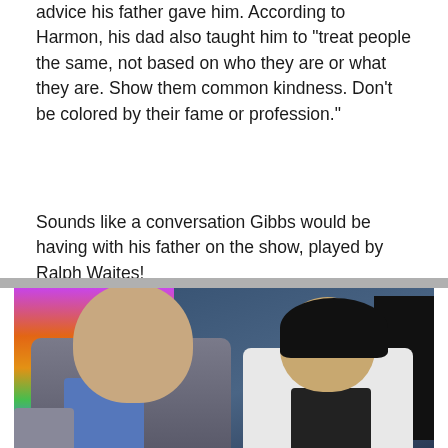advice his father gave him. According to Harmon, his dad also taught him to “treat people the same, not based on who they are or what they are. Show them common kindness. Don’t be colored by their fame or profession.”
Sounds like a conversation Gibbs would be having with his father on the show, played by Ralph Waites!
[Figure (photo): Two people in what appears to be a lab or office setting. On the left, a man with grey hair wearing a grey jacket and blue shirt looks to his right. On the right, a woman with dark hair wearing a white lab coat and dark top looks toward the man. Colorful decorations visible in the background on the left side.]